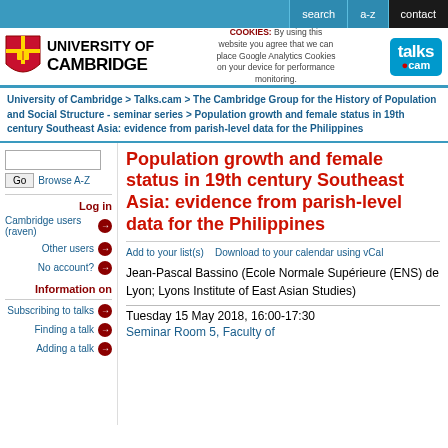search   a-z   contact
[Figure (logo): University of Cambridge logo with shield and text, cookies notice, and talks.cam logo]
University of Cambridge > Talks.cam > The Cambridge Group for the History of Population and Social Structure - seminar series > Population growth and female status in 19th century Southeast Asia: evidence from parish-level data for the Philippines
Population growth and female status in 19th century Southeast Asia: evidence from parish-level data for the Philippines
Add to your list(s)    Download to your calendar using vCal
Jean-Pascal Bassino (Ecole Normale Supérieure (ENS) de Lyon; Lyons Institute of East Asian Studies)
Tuesday 15 May 2018, 16:00-17:30
Seminar Room 5, Faculty of ...
Log in
Cambridge users (raven)
Other users
No account?
Information on
Subscribing to talks
Finding a talk
Adding a talk